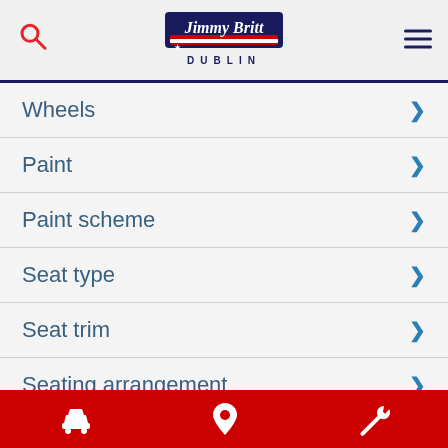Jimmy Britt Dublin
Wheels
Paint
Paint scheme
Seat type
Seat trim
Seating arrangement
Radio
Option discount
Bottom navigation bar with car, location, and wrench icons